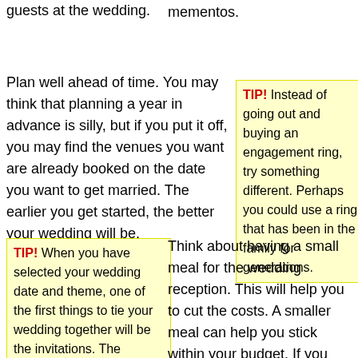guests at the wedding.
mementos.
Plan well ahead of time. You may think that planning a year in advance is silly, but if you put it off, you may find the venues you want are already booked on the date you want to get married. The earlier you get started, the better your wedding will be.
TIP! Instead of going out and buying an engagement ring, try something different. Perhaps you could use a ring that has been in the family for generations.
TIP! When you have selected your wedding date and theme, one of the first things to tie your wedding together will be the invitations. The invitations
Think about having a small meal for the wedding reception. This will help you to cut the costs. A smaller meal can help you stick within your budget. If you don't feel that's a viable option, then your guest list might have to be reduced.